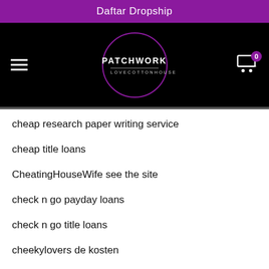Daftar Dropship
[Figure (logo): Patchwork Lovecottonhouse logo in a purple circle on a black navigation bar with hamburger menu and cart icon]
cheap research paper writing service
cheap title loans
CheatingHouseWife see the site
check n go payday loans
check n go title loans
cheekylovers de kosten
cheekylovers espa?a
cheekylovers reviews